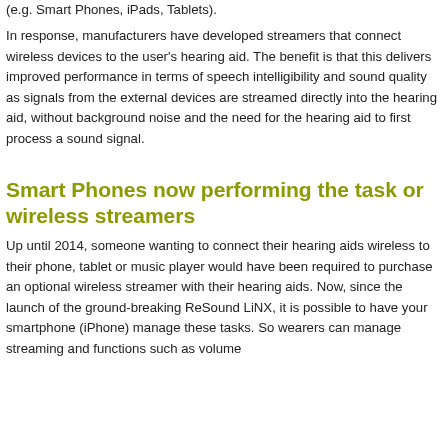(e.g. Smart Phones, iPads, Tablets).
In response, manufacturers have developed streamers that connect wireless devices to the user's hearing aid. The benefit is that this delivers improved performance in terms of speech intelligibility and sound quality as signals from the external devices are streamed directly into the hearing aid, without background noise and the need for the hearing aid to first process a sound signal.
Smart Phones now performing the task or wireless streamers
Up until 2014, someone wanting to connect their hearing aids wireless to their phone, tablet or music player would have been required to purchase an optional wireless streamer with their hearing aids. Now, since the launch of the ground-breaking ReSound LiNX, it is possible to have your smartphone (iPhone) manage these tasks. So wearers can manage streaming and functions such as volume